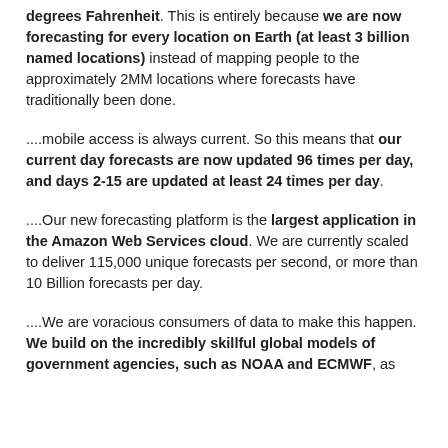degrees Fahrenheit. This is entirely because we are now forecasting for every location on Earth (at least 3 billion named locations) instead of mapping people to the approximately 2MM locations where forecasts have traditionally been done.
....mobile access is always current. So this means that our current day forecasts are now updated 96 times per day, and days 2-15 are updated at least 24 times per day.
....Our new forecasting platform is the largest application in the Amazon Web Services cloud. We are currently scaled to deliver 115,000 unique forecasts per second, or more than 10 Billion forecasts per day.
....We are voracious consumers of data to make this happen. We build on the incredibly skillful global models of government agencies, such as NOAA and ECMWF, as